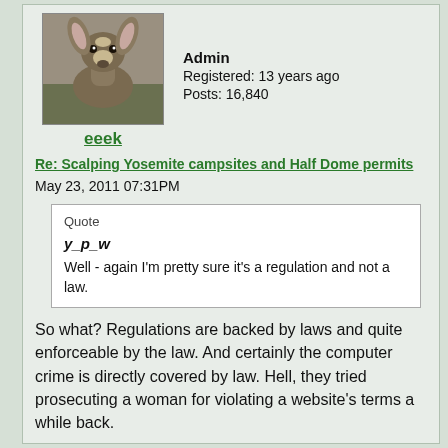[Figure (photo): Avatar photo of a mule deer facing forward in natural setting]
eeek
Admin
Registered: 13 years ago
Posts: 16,840
Re: Scalping Yosemite campsites and Half Dome permits
May 23, 2011 07:31PM
Quote
y_p_w
Well - again I'm pretty sure it's a regulation and not a law.
So what? Regulations are backed by laws and quite enforceable by the law. And certainly the computer crime is directly covered by law. Hell, they tried prosecuting a woman for violating a website's terms a while back.